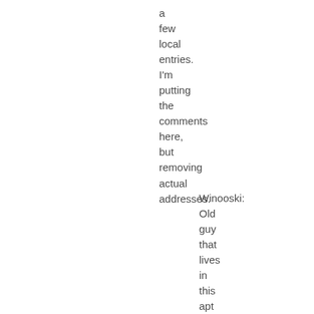a
few
local
entries.
I'm
putting
the
comments
here,
but
removing
actual
addresses.
Winooski:
Old
guy
that
lives
in
this
apt
is